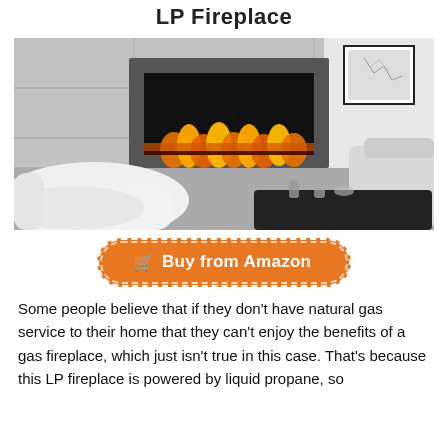LP Fireplace
[Figure (photo): Modern linear gas fireplace with flames burning behind glass, set into a grey stone/concrete wall surround, with white contemporary sofas in foreground and a black coffee table with glasses on the right.]
Buy from Amazon
Some people believe that if they don't have natural gas service to their home that they can't enjoy the benefits of a gas fireplace, which just isn't true in this case. That's because this LP fireplace is powered by liquid propane, so